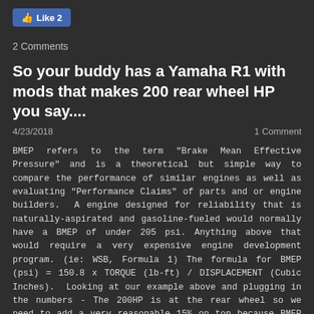[Figure (other): Facebook Like button showing thumbs up icon and count of 2]
2 Comments
So your buddy has a Yamaha R1 with mods that makes 200 rear wheel HP you say....
4/23/2018    1 Comment
BMEP refers to the term "Brake Mean Effective Pressure" and is a theoretical but simple way to compare the performance of similar engines as well as evaluating "Performance Claims" of parts and or engine builders.  A engine designed for reliability that is naturally-aspirated and gasoline-fueled would normally have a BMEP of under 205 psi. Anything above that would require a very expensive engine development program. (ie: WSB, Formula 1) The formula for BMEP (psi) = 150.8 x TORQUE (lb-ft) / DISPLACEMENT (Cubic Inches).  Looking at our example above and plugging in the numbers - The 200HP is at the rear wheel so we need to add a very reasonable 15% on top because BMEP is calculated at the motor. So that means 230HP peak at the engine at aprox 12,000 rpm which calculates back to 100 ft lbs of torque at 12,000 rpm (HP = Torque X Rpm / 5252. So BMEP of h...